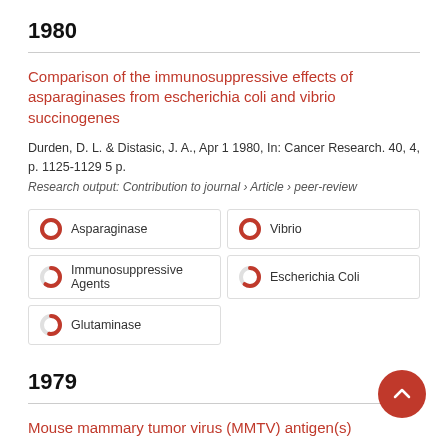1980
Comparison of the immunosuppressive effects of asparaginases from escherichia coli and vibrio succinogenes
Durden, D. L. & Distasic, J. A., Apr 1 1980, In: Cancer Research. 40, 4, p. 1125-1129 5 p.
Research output: Contribution to journal › Article › peer-review
Asparaginase
Vibrio
Immunosuppressive Agents
Escherichia Coli
Glutaminase
1979
Mouse mammary tumor virus (MMTV) antigen(s) expression...